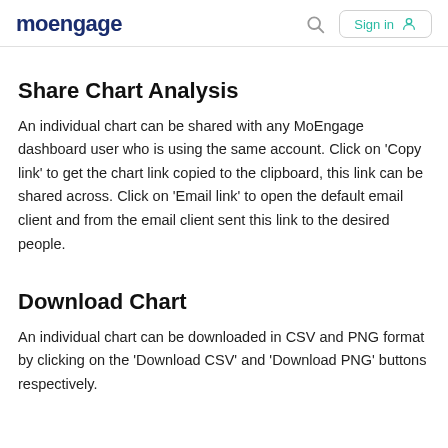moengage  Sign in
Share Chart Analysis
An individual chart can be shared with any MoEngage dashboard user who is using the same account. Click on 'Copy link' to get the chart link copied to the clipboard, this link can be shared across. Click on 'Email link' to open the default email client and from the email client sent this link to the desired people.
Download Chart
An individual chart can be downloaded in CSV and PNG format by clicking on the 'Download CSV' and 'Download PNG' buttons respectively.